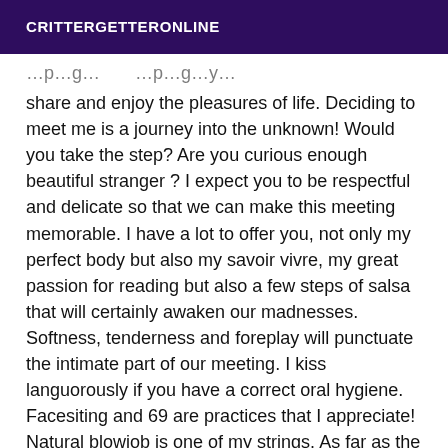CRITTERGETTERONLINE
share and enjoy the pleasures of life. Deciding to meet me is a journey into the unknown! Would you take the step? Are you curious enough beautiful stranger ? I expect you to be respectful and delicate so that we can make this meeting memorable. I have a lot to offer you, not only my perfect body but also my savoir vivre, my great passion for reading but also a few steps of salsa that will certainly awaken our madnesses. Softness, tenderness and foreplay will punctuate the intimate part of our meeting. I kiss languorously if you have a correct oral hygiene. Facesiting and 69 are practices that I appreciate! Natural blowjob is one of my strings. As far as the kamasutra is concerned, all positions are appreciated and practiced. Amateur of small sizes, you will not be disappointed I weigh 50kgs, flexible and very sporty. The pleasure of anal is one of my favorite treats, it is in addition. If you have special requests do not